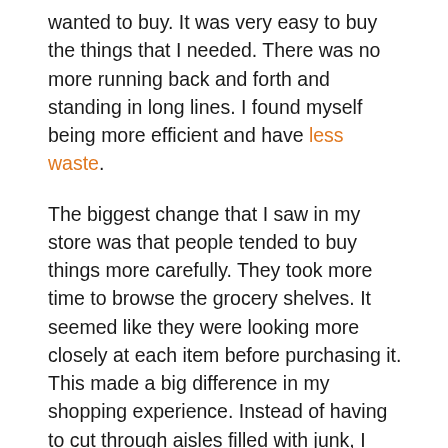wanted to buy. It was very easy to buy the things that I needed. There was no more running back and forth and standing in long lines. I found myself being more efficient and have less waste.
The biggest change that I saw in my store was that people tended to buy things more carefully. They took more time to browse the grocery shelves. It seemed like they were looking more closely at each item before purchasing it. This made a big difference in my shopping experience. Instead of having to cut through aisles filled with junk, I could go through the store slowly and look closer at each product.
Another thing that I saw in my grocery store was that people were buying more locally produced items. I used to get food from the grocery store and delivered it home. Since I was still near it, I was able to see the items that they carried and then order them. Sometimes they did